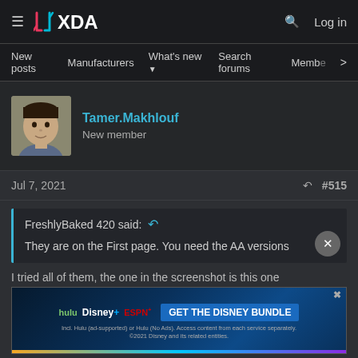XDA — Log in
New posts  Manufacturers  What's new  Search forums  Members  >
Tamer.Makhlouf
New member
Jul 7, 2021  #515
FreshlyBaked 420 said:
They are on the First page. You need the AA versions
I tried all of them, the one in the screenshot is this one
[Figure (screenshot): Disney Bundle advertisement banner: hulu, Disney+, ESPN+ logos with GET THE DISNEY BUNDLE CTA and fine print]
IN11AA
OOS 11.0